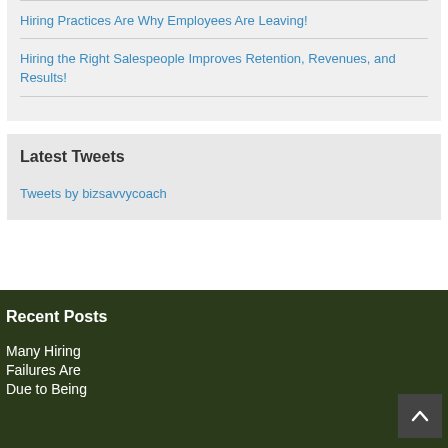Hiring Practices Are Why Employees Are Leaving!
Hiring the Right Salespeople Improves Retention, Revenues, and Results!
Latest Tweets
Tweets by bizsavvycoach
Recent Posts
Many Hiring Failures Are Due to Being